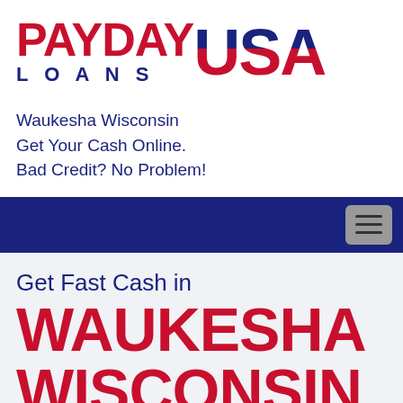[Figure (logo): Payday Loans USA logo with red PAYDAY text, dark blue LOANS text, and red/blue USA text with stars]
Waukesha Wisconsin
Get Your Cash Online.
Bad Credit? No Problem!
[Figure (other): Dark navy blue navigation bar with hamburger menu icon on the right]
Get Fast Cash in
WAUKESHA WISCONSIN
We're here to help you get speedy personal loan you need